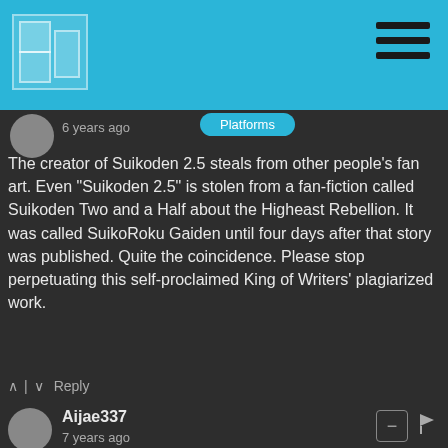[Figure (screenshot): Website header bar with teal/blue background, logo icon on left and hamburger menu icon on right]
6 years ago
Platforms
The creator of Suikoden 2.5 steals from other people's fan art. Even "Suikoden 2.5" is stolen from a fan-fiction called Suikoden Two and a Half about the Higheast Rebellion. It was called SuikoRoku Gaiden until four days after that story was published. Quite the coincidence. Please stop perpetuating this self-proclaimed King of Writers' plagiarized work.
Reply
Aijae337
7 years ago
and you using my drawing without giving any credits
-HikariShuyo-
Reply
Josiah → Aijae337
7 years ago
Sorry about that, our writer may have forgotten to add that information.